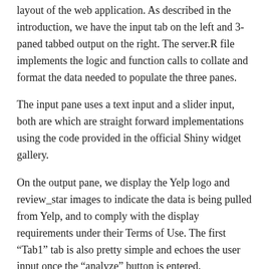layout of the web application. As described in the introduction, we have the input tab on the left and 3-paned tabbed output on the right. The server.R file implements the logic and function calls to collate and format the data needed to populate the three panes.
The input pane uses a text input and a slider input, both are which are straight forward implementations using the code provided in the official Shiny widget gallery.
On the output pane, we display the Yelp logo and review_star images to indicate the data is being pulled from Yelp, and to comply with the display requirements under their Terms of Use. The first “Tab1” tab is also pretty simple and echoes the user input once the “analyze” button is entered.
Yelp College Search App